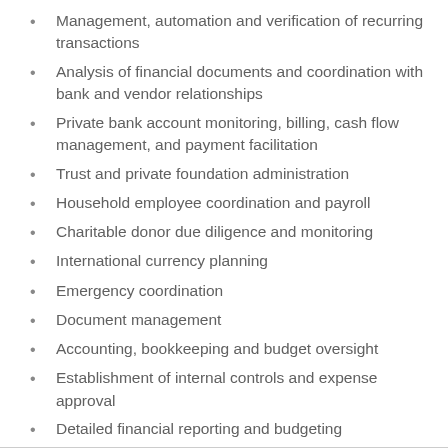Management, automation and verification of recurring transactions
Analysis of financial documents and coordination with bank and vendor relationships
Private bank account monitoring, billing, cash flow management, and payment facilitation
Trust and private foundation administration
Household employee coordination and payroll
Charitable donor due diligence and monitoring
International currency planning
Emergency coordination
Document management
Accounting, bookkeeping and budget oversight
Establishment of internal controls and expense approval
Detailed financial reporting and budgeting